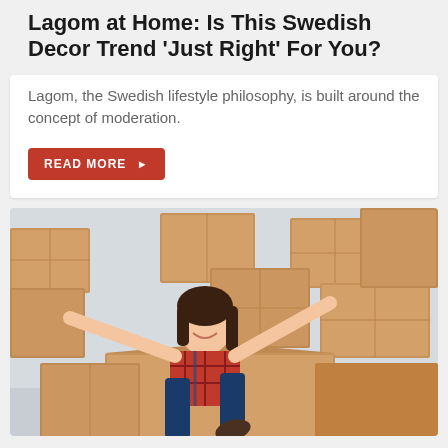Lagom at Home: Is This Swedish Decor Trend 'Just Right' For You?
Lagom, the Swedish lifestyle philosophy, is built around the concept of moderation.
READ MORE ▶
[Figure (photo): A smiling young woman with dark hair, wearing a red plaid shirt and jeans, sitting inside a large cardboard moving box with her arms raised joyfully. Stacks of cardboard boxes fill the background.]